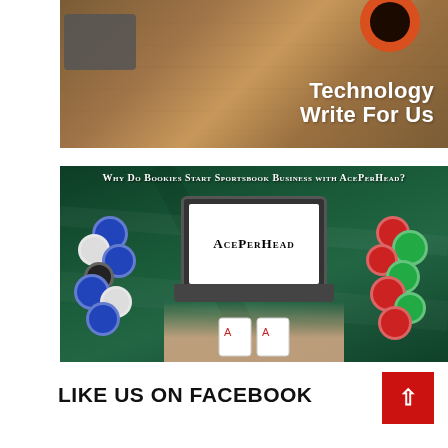[Figure (photo): Technology Write For Us banner image showing a wooden desk with a laptop partially visible on the left, an orange/red coffee cup at top right, with bold white text 'Technology Write For Us' overlaid on a warm wood-toned background.]
[Figure (photo): AcePerHead promotional image on green felt/casino background. Top text reads 'Why Do Bookies Start Sportsbook Business with AcePerHead?'. Center shows a laptop with 'AcePerHead' logo on screen, surrounded by casino chips in blue, white, red, green colors. Hands at bottom hold playing cards.]
LIKE US ON FACEBOOK